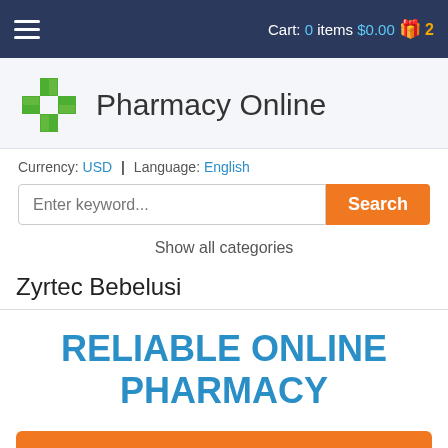Cart: 0 items $0.00  2
Pharmacy Online
Currency: USD | Language: English
Enter keyword... Search
Show all categories
Zyrtec Bebelusi
RELIABLE ONLINE PHARMACY
> Click here to order now